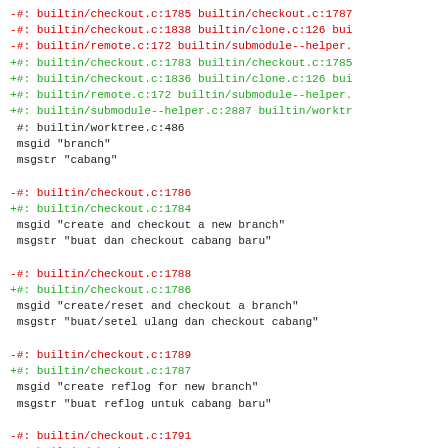-#: builtin/checkout.c:1785 builtin/checkout.c:1787
-#: builtin/checkout.c:1838 builtin/clone.c:126 bui
-#: builtin/remote.c:172 builtin/submodule--helper.
+#: builtin/checkout.c:1783 builtin/checkout.c:1785
+#: builtin/checkout.c:1836 builtin/clone.c:126 bui
+#: builtin/remote.c:172 builtin/submodule--helper.
+#: builtin/submodule--helper.c:2887 builtin/worktr
 #: builtin/worktree.c:486
 msgid "branch"
 msgstr "cabang"

-#: builtin/checkout.c:1786
+#: builtin/checkout.c:1784
 msgid "create and checkout a new branch"
 msgstr "buat dan checkout cabang baru"

-#: builtin/checkout.c:1788
+#: builtin/checkout.c:1786
 msgid "create/reset and checkout a branch"
 msgstr "buat/setel ulang dan checkout cabang"

-#: builtin/checkout.c:1789
+#: builtin/checkout.c:1787
 msgid "create reflog for new branch"
 msgstr "buat reflog untuk cabang baru"

-#: builtin/checkout.c:1791
+#: builtin/checkout.c:1789
 msgid "second guess 'git checkout <no-such-branch>